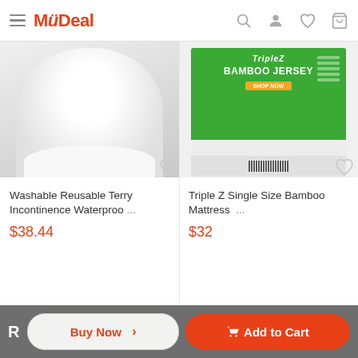MyDeal
[Figure (photo): Washable reusable terry incontinence waterproof product - white fabric/pillow item]
Washable Reusable Terry Incontinence Waterproo ...
$38.44
[Figure (photo): Triple Z Single Size Bamboo Mattress product in green packaging box]
Triple Z Single Size Bamboo Mattress ...
$32
Buy Now >
Add to Cart